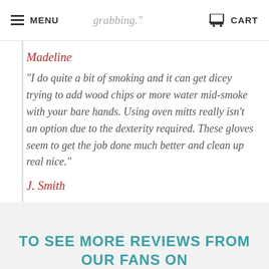MENU  CART
grabbing."
Madeline
"I do quite a bit of smoking and it can get dicey trying to add wood chips or more water mid-smoke with your bare hands. Using oven mitts really isn't an option due to the dexterity required. These gloves seem to get the job done much better and clean up real nice."
J. Smith
TO SEE MORE REVIEWS FROM OUR FANS ON AMAZON.COM, CLICK HERE